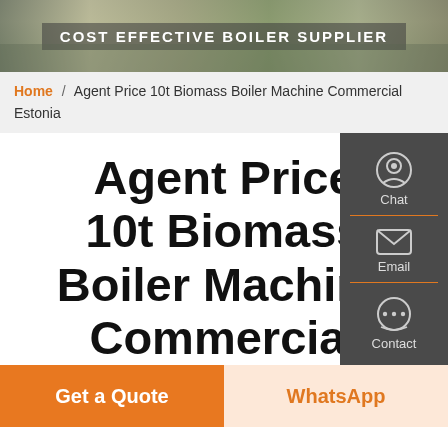[Figure (photo): Header banner photo of an industrial boiler facility building with text overlay reading COST EFFECTIVE BOILER SUPPLIER]
Home / Agent Price 10t Biomass Boiler Machine Commercial Estonia
Agent Price 10t Biomass Boiler Machine Commercial Estonia
Chat
Email
Contact
Get a Quote
WhatsApp